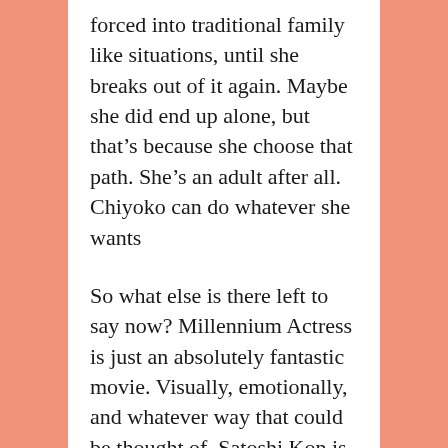forced into traditional family like situations, until she breaks out of it again. Maybe she did end up alone, but that's because she choose that path. She's an adult after all. Chiyoko can do whatever she wants
So what else is there left to say now? Millennium Actress is just an absolutely fantastic movie. Visually, emotionally, and whatever way that could be thought of. Satoshi Kon is a genius director and I wish cancer didn't take him away from us earlier. We've only got 4 films and a television series to remember him from and it's just not enough. Everything he's done is ground breaking in some way, because Satoshi Kon doesn't like repeating himself except how he